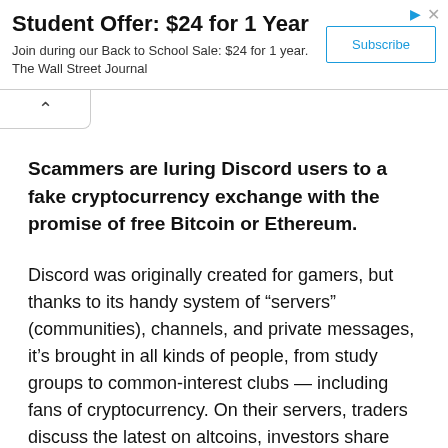[Figure (other): Advertisement banner for Wall Street Journal student subscription offer]
Scammers are luring Discord users to a fake cryptocurrency exchange with the promise of free Bitcoin or Ethereum.
Discord was originally created for gamers, but thanks to its handy system of “servers” (communities), channels, and private messages, it’s brought in all kinds of people, from study groups to common-interest clubs — including fans of cryptocurrency. On their servers, traders discuss the latest on altcoins, investors share predictions, and scammers lurk, looking to victimize